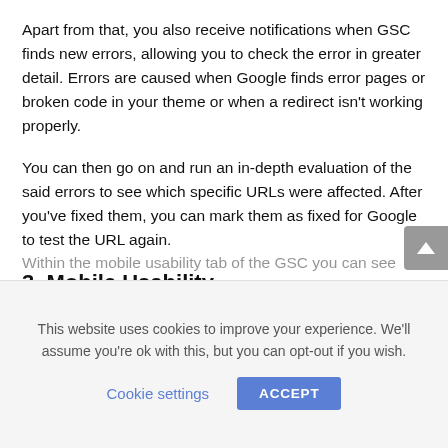Apart from that, you also receive notifications when GSC finds new errors, allowing you to check the error in greater detail. Errors are caused when Google finds error pages or broken code in your theme or when a redirect isn't working properly.
You can then go on and run an in-depth evaluation of the said errors to see which specific URLs were affected. After you've fixed them, you can mark them as fixed for Google to test the URL again.
3. Mobile Usability
Within the mobile usability tab of the GSC you can see...
This website uses cookies to improve your experience. We'll assume you're ok with this, but you can opt-out if you wish.
Cookie settings   ACCEPT